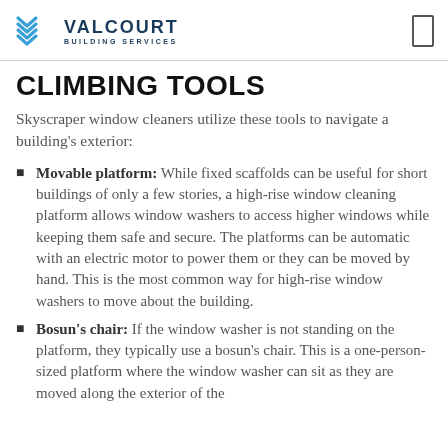VALCOURT BUILDING SERVICES
CLIMBING TOOLS
Skyscraper window cleaners utilize these tools to navigate a building's exterior:
Movable platform: While fixed scaffolds can be useful for short buildings of only a few stories, a high-rise window cleaning platform allows window washers to access higher windows while keeping them safe and secure. The platforms can be automatic with an electric motor to power them or they can be moved by hand. This is the most common way for high-rise window washers to move about the building.
Bosun's chair: If the window washer is not standing on the platform, they typically use a bosun's chair. This is a one-person-sized platform where the window washer can sit as they are moved along the exterior of the